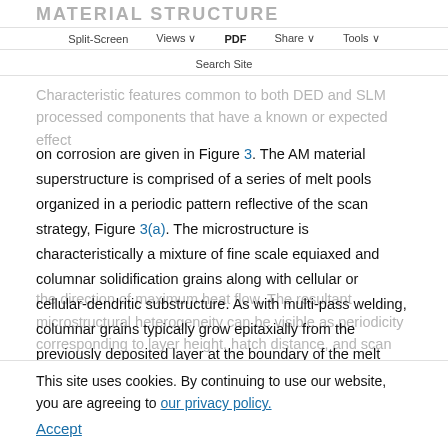MATERIAL STRUCTURE
Split-Screen   Views   PDF   Share   Tools
Search Site
Characteristic features common to both DED and SLM processed components that have a known or expected effect on corrosion are given in Figure 3. The AM material superstructure is comprised of a series of melt pools organized in a periodic pattern reflective of the scan strategy, Figure 3(a). The microstructure is characteristically a mixture of fine scale equiaxed and columnar solidification grains along with cellular or cellular-dendritic substructure. As with multi-pass welding, columnar grains typically grow epitaxially from the previously deposited layer at the boundary of the melt pool. Grain growth direction is along
the direction of maximum heat flow. The resultant microstructural heterogeneity can be visible as periodicity corresponding to layer height, hatch distance, and scan pattern used. Figures 3(a) and (b). Cellular solidification
This site uses cookies. By continuing to use our website, you are agreeing to our privacy policy.
Accept